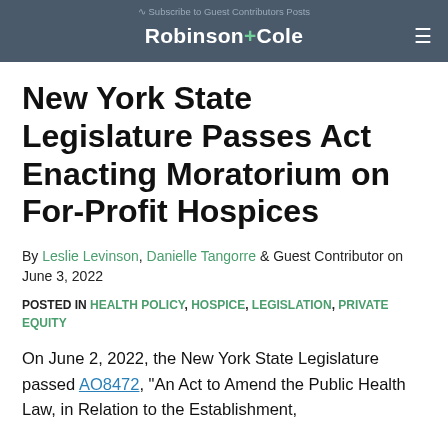Robinson+Cole
New York State Legislature Passes Act Enacting Moratorium on For-Profit Hospices
By Leslie Levinson, Danielle Tangorre & Guest Contributor on June 3, 2022
POSTED IN HEALTH POLICY, HOSPICE, LEGISLATION, PRIVATE EQUITY
On June 2, 2022, the New York State Legislature passed AO8472, "An Act to Amend the Public Health Law, in Relation to the Establishment,